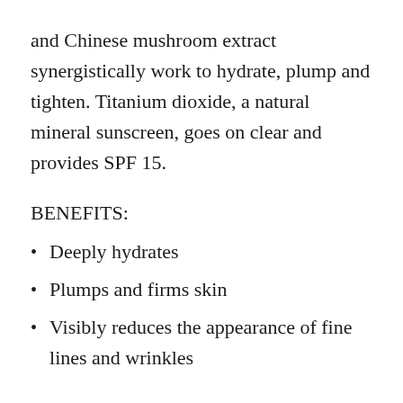and Chinese mushroom extract synergistically work to hydrate, plump and tighten. Titanium dioxide, a natural mineral sunscreen, goes on clear and provides SPF 15.
BENEFITS:
Deeply hydrates
Plumps and firms skin
Visibly reduces the appearance of fine lines and wrinkles
DIRECTIONS: Apply a dime-sized dollop to your face, neck and chest as the last step of your morning skincare routine. Use daily for best results.
TIP: